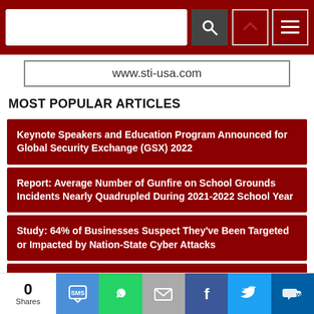www.sti-usa.com
MOST POPULAR ARTICLES
Keynote Speakers and Education Program Announced for Global Security Exchange (GSX) 2022
Report: Average Number of Gunfire on School Grounds Incidents Nearly Quadrupled During 2021-2022 School Year
Study: 64% of Businesses Suspect They've Been Targeted or Impacted by Nation-State Cyber Attacks
ESA Establishes Resolution to Support Alarm Dispatch
0 Shares